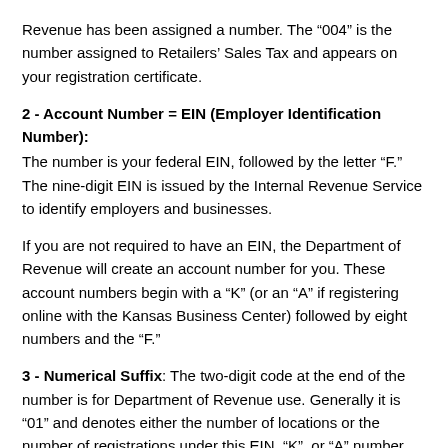Revenue has been assigned a number. The “004” is the number assigned to Retailers’ Sales Tax and appears on your registration certificate.
2 - Account Number = EIN (Employer Identification Number):
The number is your federal EIN, followed by the letter “F.” The nine-digit EIN is issued by the Internal Revenue Service to identify employers and businesses.
If you are not required to have an EIN, the Department of Revenue will create an account number for you. These account numbers begin with a “K” (or an “A” if registering online with the Kansas Business Center) followed by eight numbers and the “F.”
3 - Numerical Suffix: The two-digit code at the end of the number is for Department of Revenue use. Generally it is “01” and denotes either the number of locations or the number of registrations under this EIN, “K”, or “A” number.